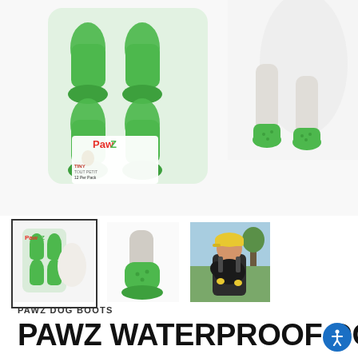[Figure (photo): Hero image: green Pawz dog boots product packaging on the left showing small white dog wearing green rubber boots, and on the right a white dog's legs wearing green rubber waterproof Pawz boots on a white background.]
[Figure (photo): Thumbnail 1 (selected, with border): Pawz product packaging showing small white chihuahua wearing green rubber boots, with Pawz logo at top.]
[Figure (photo): Thumbnail 2: Close-up of a dog paw wearing a single green Pawz rubber boot on white background.]
[Figure (photo): Thumbnail 3: A boy in a yellow cap and dark overalls holding a black dog outdoors; the dog is wearing yellow Pawz boots.]
PAWZ DOG BOOTS
PAWZ WATERPROOF DOG